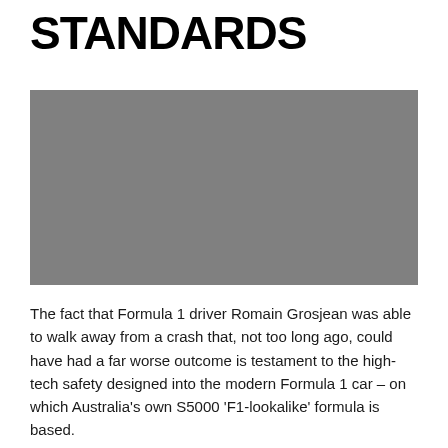STANDARDS
[Figure (photo): Grey placeholder image representing a photograph, likely of a Formula 1 car or racing scene related to safety standards.]
The fact that Formula 1 driver Romain Grosjean was able to walk away from a crash that, not too long ago, could have had a far worse outcome is testament to the high-tech safety designed into the modern Formula 1 car – on which Australia's own S5000 'F1-lookalike' formula is based.